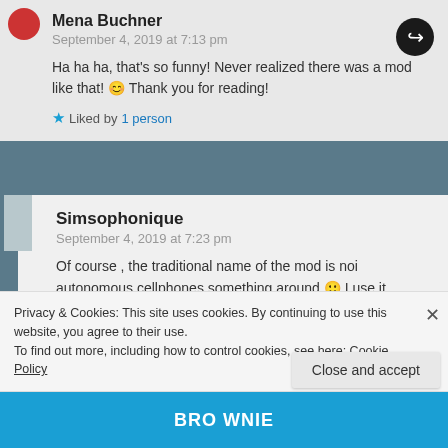Mena Buchner
September 4, 2019 at 7:13 pm
Ha ha ha, that's so funny! Never realized there was a mod like that! 😊 Thank you for reading!
Liked by 1 person
Simsophonique
September 4, 2019 at 7:23 pm
Of course , the traditional name of the mod is noi autonomous cellphones something around 🙂 I use it because I was annoyed to see my sims everytimes
Privacy & Cookies: This site uses cookies. By continuing to use this website, you agree to their use.
To find out more, including how to control cookies, see here: Cookie Policy
Close and accept